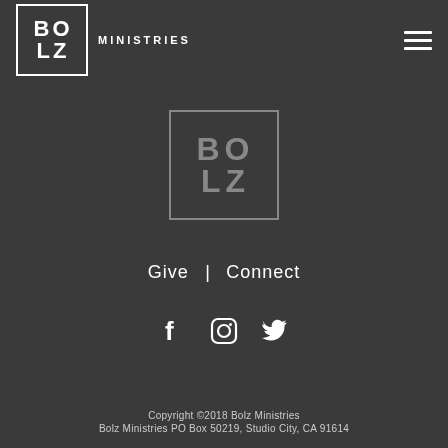[Figure (logo): Bolz Ministries logo in top left: square border with BO/LZ lettering in white, followed by MINISTRIES text. Hamburger menu icon top right.]
[Figure (logo): Bolz Ministries center logo: square border in grey with BO/LZ lettering in grey, larger version centered on page]
Give  |  Connect
[Figure (illustration): Social media icons: Facebook (f), Instagram (camera), Twitter (bird) in white]
Copyright ©2018 Bolz Ministries
Bolz Ministries PO Box 50219, Studio City, CA 91614